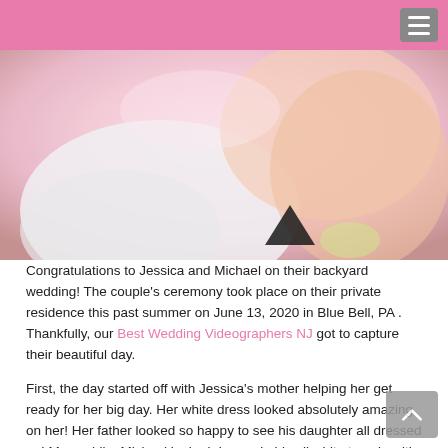[Figure (photo): Close-up photo of a bride with soft pink and skin-tone background, wearing earrings, a black triangular detail visible.]
Congratulations to Jessica and Michael on their backyard wedding! The couple's ceremony took place on their private residence this past summer on June 13, 2020 in Blue Bell, PA . Thankfully, our Best Wedding Videographers NJ got to capture their beautiful day.
First, the day started off with Jessica's mother helping her get ready for her big day. Her white dress looked absolutely amazing on her! Her father looked so happy to see his daughter all dressed up! Meanwhile, Michael looked dapper in his all white tuxedo with a white dress shirt, black bow tie and black leather shoes. Our Best Wedding Videographers NJ perfectly captured these gorgeous outfits.
Next, the ceremony began! Michael made his way up the aisle to